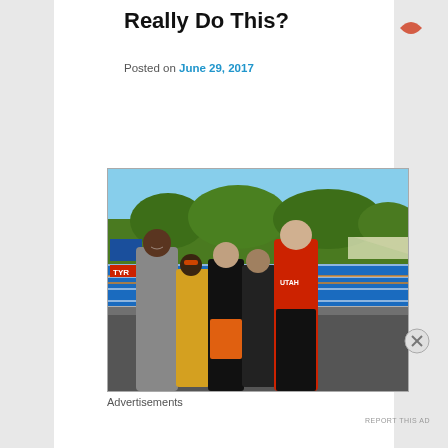Really Do This?
Posted on June 29, 2017
[Figure (photo): Five people posing together outdoors at a swimming pool venue with trees and blue sky in the background. From left: tall man in grey Under Armour hoodie, shorter person in yellow towel with swim goggles, woman in black shirt with orange shorts, person in black, tall man in red Utah shirt.]
Advertisements